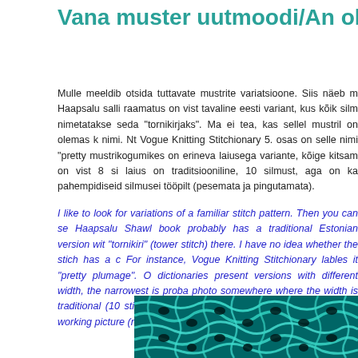Vana muster uutmoodi/An old stitch pattern
Mulle meeldib otsida tuttavate mustrite variatsioone. Siis näeb m... Haapsalu salli raamatus on vist tavaline eesti variant, kus kõik silm... nimetatakse seda "tornikirjaks". Ma ei tea, kas sellel mustril on olemas k... nimi. Nt Vogue Knitting Stitchionary 5. osas on selle nimi "pretty... mustrikogumikes on erineva laiusega variante, kõige kitsam on vist 8 si... laius on traditsiooniline, 10 silmust, aga on ka pahempidiseid silmusei... tööpilt (pesemata ja pingutamata).
I like to look for variations of a familiar stitch pattern. Then you can se... Haapsalu Shawl book probably has a traditional Estonian version wit... "tornikiri" (tower stitch) there. I have no idea whether the stich has a c... For instance, Vogue Knitting Stitchionary lables it "pretty plumage". O... dictionaries present versions with different width, the narrowest is proba... photo somewhere where the width is traditional (10 stitches) but with p... exactly what I need. Here is a working picture (nor moistened nor blocke...
[Figure (photo): Close-up photo of a teal/turquoise lace knitting swatch showing an old stitch pattern with openwork holes, unblocked.]